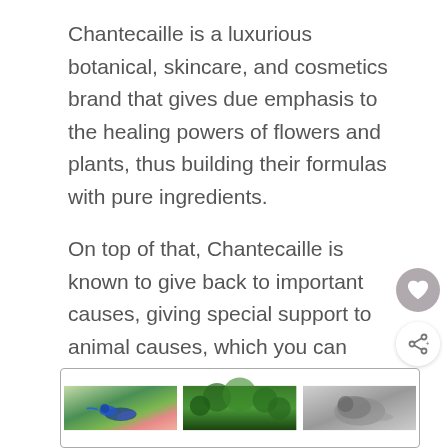Chantecaille is a luxurious botanical, skincare, and cosmetics brand that gives due emphasis to the healing powers of flowers and plants, thus building their formulas with pure ingredients.
On top of that, Chantecaille is known to give back to important causes, giving special support to animal causes, which you can verify by reading the page below.
[Figure (photo): Three thumbnail images in a bordered box at the bottom: a hummingbird on a flower, a forest/trees aerial view, and a black-and-white animal photo]